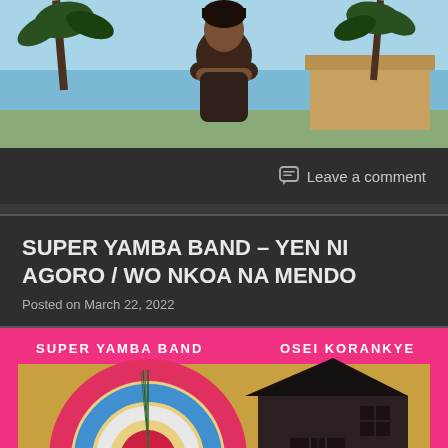[Figure (photo): Person with arms crossed standing outdoors under blue sky with palm trees and buildings in background]
Leave a comment
SUPER YAMBA BAND – YEN NI AGORO / WO NKOA NA MENDO
Posted on March 22, 2022
[Figure (illustration): Album cover for Super Yamba Band / Osei Korankye, featuring a colorful spherical object with blue, pink, red and white swirls next to a dark barn structure, on a golden yellow background with bright pink border. Text 'SUPER YAMBA BAND' on left and 'OSEI KORANKYE' on right in white block letters.]